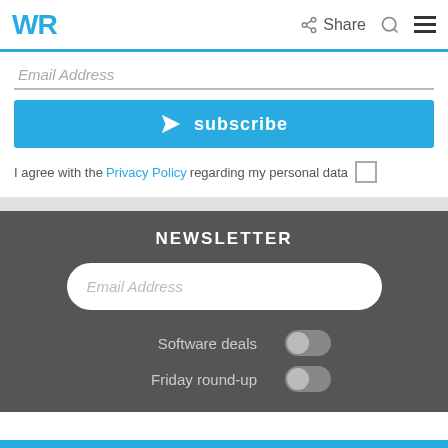WR | Share
Email Address
subscribe
I agree with the Privacy Policy regarding my personal data
NEWSLETTER
Email Address
Software deals
Friday round-up